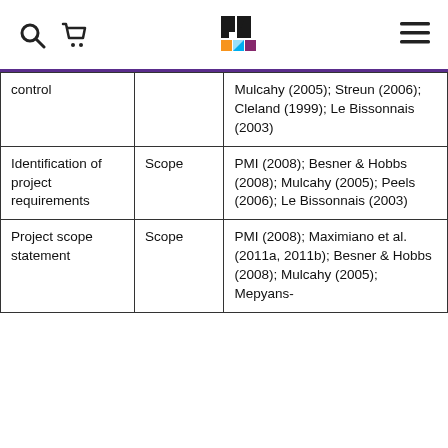PMI logo header with search, cart, and menu icons
| control |  | Mulcahy (2005); Streun (2006); Cleland (1999); Le Bissonnais (2003) |
| Identification of project requirements | Scope | PMI (2008); Besner & Hobbs (2008); Mulcahy (2005); Peels (2006); Le Bissonnais (2003) |
| Project scope statement | Scope | PMI (2008); Maximiano et al. (2011a, 2011b); Besner & Hobbs (2008); Mulcahy (2005); Mepyans- |